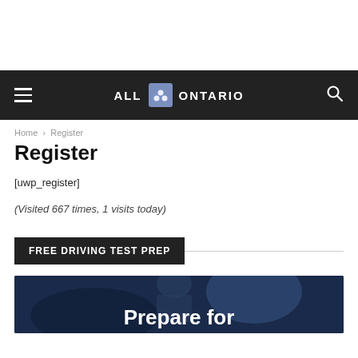ALL ONTARIO
Home › Register
Register
[uwp_register]
(Visited 667 times, 1 visits today)
FREE DRIVING TEST PREP
[Figure (photo): Dark photo of a person with overlaid bold text 'Prepare for']